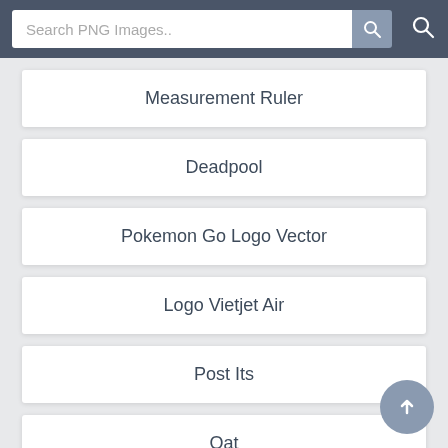Search PNG Images..
Measurement Ruler
Deadpool
Pokemon Go Logo Vector
Logo Vietjet Air
Post Its
Oat
Art Nouveau